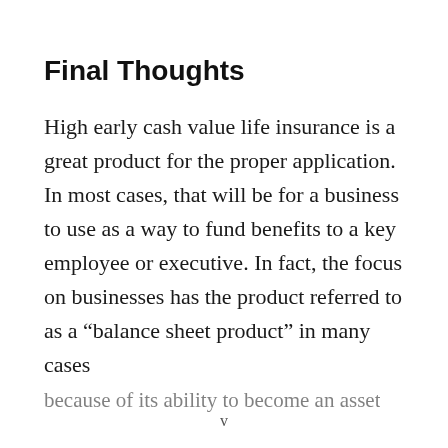Final Thoughts
High early cash value life insurance is a great product for the proper application. In most cases, that will be for a business to use as a way to fund benefits to a key employee or executive. In fact, the focus on businesses has the product referred to as a “balance sheet product” in many cases because of its ability to become an asset
v